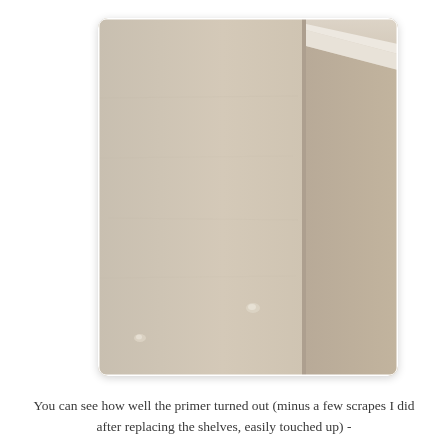[Figure (photo): Interior photo showing a painted wall corner with beige/tan primer coat. The wall surface is smooth with a couple of small bumps or scrape marks visible. A corner is visible where two walls meet, with crown molding visible at the top right. The lighting shows the texture of the primed drywall.]
You can see how well the primer turned out (minus a few scrapes I did after replacing the shelves, easily touched up) -